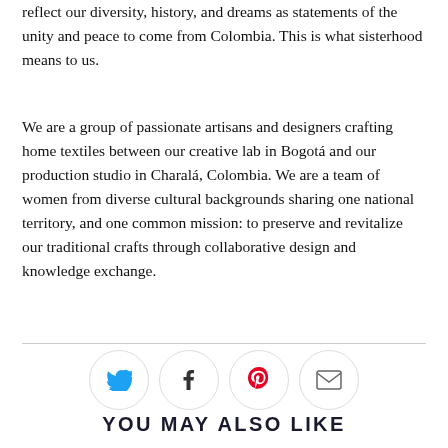reflect our diversity, history, and dreams as statements of the unity and peace to come from Colombia. This is what sisterhood means to us.
We are a group of passionate artisans and designers crafting home textiles between our creative lab in Bogotá and our production studio in Charalá, Colombia. We are a team of women from diverse cultural backgrounds sharing one national territory, and one common mission: to preserve and revitalize our traditional crafts through collaborative design and knowledge exchange.
[Figure (infographic): Four circular social media icon buttons for Twitter (blue bird), Facebook (f), Pinterest (red P), and email (envelope), arranged horizontally.]
YOU MAY ALSO LIKE